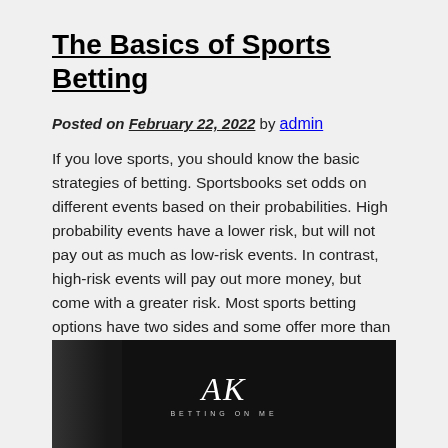The Basics of Sports Betting
Posted on February 22, 2022 by admin
If you love sports, you should know the basic strategies of betting. Sportsbooks set odds on different events based on their probabilities. High probability events have a lower risk, but will not pay out as much as low-risk events. In contrast, high-risk events will pay out more money, but come with a greater risk. Most sports betting options have two sides and some offer more than two. The odds are calculated according to the probability of the event.
[Figure (photo): Dark background image with AK logo/signature text and 'BETTING ON ME' subtitle in white text]